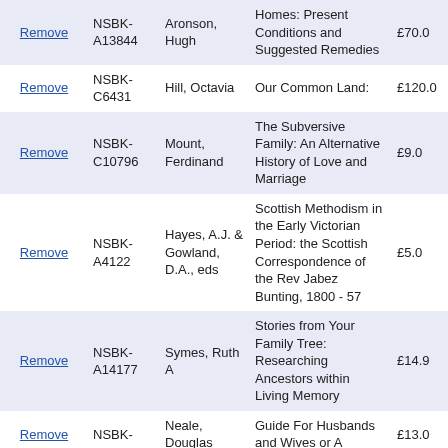|  | ID | Author | Title | Price |
| --- | --- | --- | --- | --- |
| Remove | NSBK-A13844 | Aronson, Hugh | Homes: Present Conditions and Suggested Remedies | £70.0 |
| Remove | NSBK-C6431 | Hill, Octavia | Our Common Land: | £120.0 |
| Remove | NSBK-C10796 | Mount, Ferdinand | The Subversive Family: An Alternative History of Love and Marriage | £9.0 |
| Remove | NSBK-A4122 | Hayes, A.J. & Gowland, D.A., eds | Scottish Methodism in the Early Victorian Period: the Scottish Correspondence of the Rev Jabez Bunting, 1800 - 57 | £5.0 |
| Remove | NSBK-A14177 | Symes, Ruth A | Stories from Your Family Tree: Researching Ancestors within Living Memory | £14.9 |
| Remove | NSBK- | Neale, Douglas | Guide For Husbands and Wives or A | £13.0 |